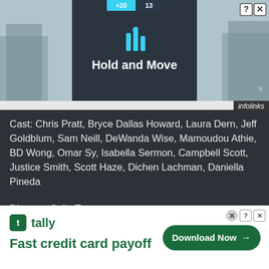[Figure (screenshot): Top advertisement banner showing 'Hold and Move' app ad with dark background, trees, score bar, and close/question buttons]
infolinks
Cast: Chris Pratt, Bryce Dallas Howard, Laura Dern, Jeff Goldblum, Sam Neill, DeWanda Wise, Mamoudou Athie, BD Wong, Omar Sy, Isabella Sermon, Campbell Scott, Justice Smith, Scott Haze, Dichen Lachman, Daniella Pineda
Director: Colin Trevorrow
Screenplay by: Emily Carmichael & Colin Trevorrow
Story by: Derek Connolly & Colin Trevorrow, based on characters created by Michael Crichton
infolinks
[Figure (screenshot): Bottom advertisement for Tally 'Fast credit card payoff' with Download Now button and close controls]